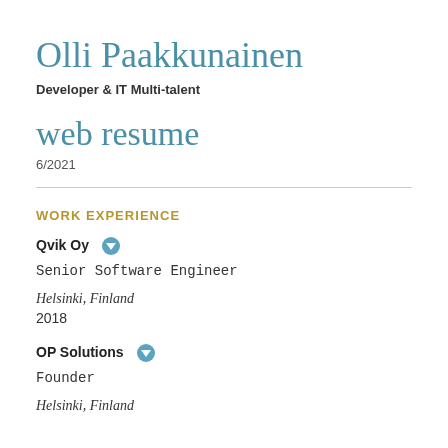Olli Paakkunainen
Developer & IT Multi-talent
web resume
6/2021
WORK EXPERIENCE
Qvik Oy
Senior Software Engineer
Helsinki, Finland
2018
OP Solutions
Founder
Helsinki, Finland